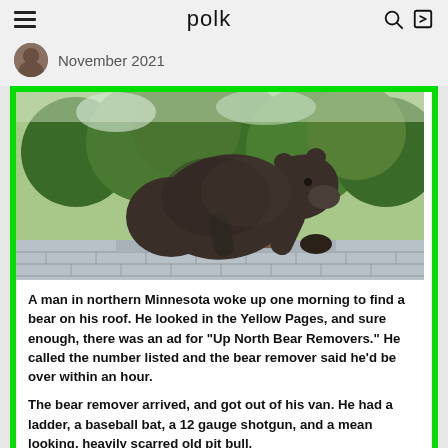polk
November 2021
[Figure (photo): A bear standing on a shingled roof, leaning forward with one paw reaching toward a chimney cap or vent, with green trees visible in the background.]
A man in northern Minnesota woke up one morning to find a bear on his roof. He looked in the Yellow Pages, and sure enough, there was an ad for "Up North Bear Removers." He called the number listed and the bear remover said he'd be over within an hour.
The bear remover arrived, and got out of his van. He had a ladder, a baseball bat, a 12 gauge shotgun, and a mean looking, heavily scarred old pit bull.